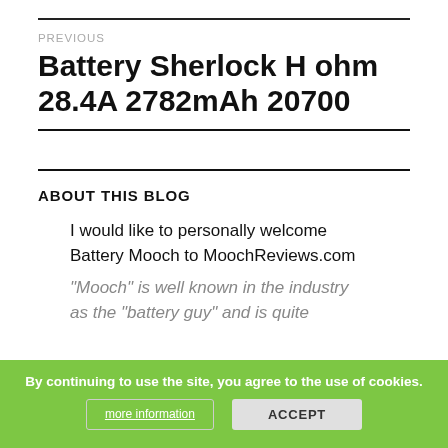PREVIOUS
Battery Sherlock H ohm 28.4A 2782mAh 20700
ABOUT THIS BLOG
I would like to personally welcome Battery Mooch to MoochReviews.com
“Mooch” is well known in the industry as the “battery guy” and is quite
By continuing to use the site, you agree to the use of cookies.
more information
ACCEPT